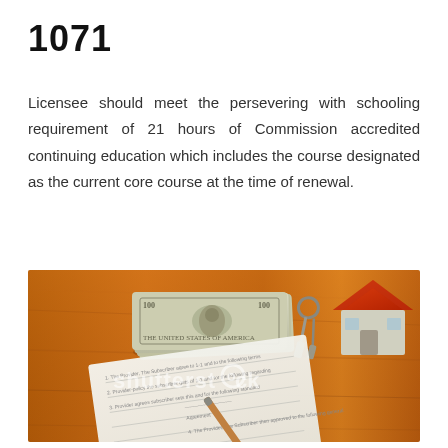1071
Licensee should meet the persevering with schooling requirement of 21 hours of Commission accredited continuing education which includes the course designated as the current core course at the time of renewal.
[Figure (photo): A wooden desk surface with a stack of US dollar bills, a set of keys, a small red origami or model house, a document/form, and a pen. A shutterstock watermark is visible across the image.]